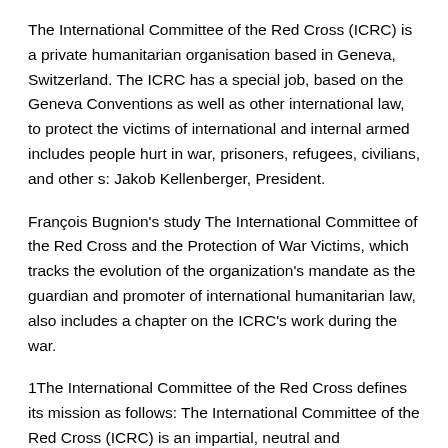The International Committee of the Red Cross (ICRC) is a private humanitarian organisation based in Geneva, Switzerland. The ICRC has a special job, based on the Geneva Conventions as well as other international law, to protect the victims of international and internal armed includes people hurt in war, prisoners, refugees, civilians, and other s: Jakob Kellenberger, President.
François Bugnion's study The International Committee of the Red Cross and the Protection of War Victims, which tracks the evolution of the organization's mandate as the guardian and promoter of international humanitarian law, also includes a chapter on the ICRC's work during the war.
1The International Committee of the Red Cross defines its mission as follows: The International Committee of the Red Cross (ICRC) is an impartial, neutral and independent organization whose exclusively humanitarian mission is to protect the lives and dignity of victims of war and other situations of violence and to provide them with assistance.